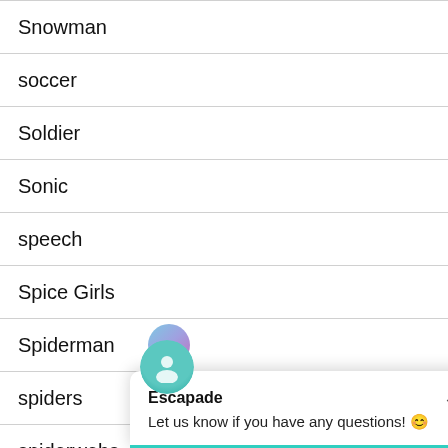Snowman
soccer
Soldier
Sonic
speech
Spice Girls
Spiderman
spiders
spiderwebs
Escapade
Let us know if you have any questions! 😊